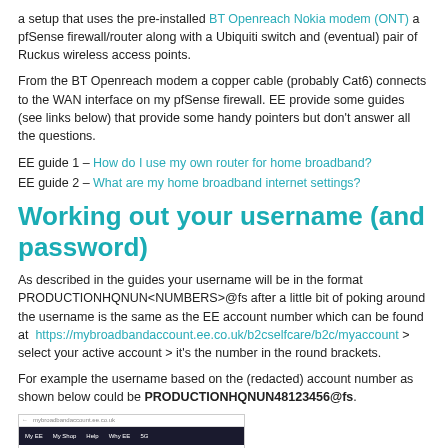a setup that uses the pre-installed BT Openreach Nokia modem (ONT) a pfSense firewall/router along with a Ubiquiti switch and (eventual) pair of Ruckus wireless access points.
From the BT Openreach modem a copper cable (probably Cat6) connects to the WAN interface on my pfSense firewall. EE provide some guides (see links below) that provide some handy pointers but don't answer all the questions.
EE guide 1 – How do I use my own router for home broadband?
EE guide 2 – What are my home broadband internet settings?
Working out your username (and password)
As described in the guides your username will be in the format PRODUCTIONHQNUN<NUMBERS>@fs after a little bit of poking around the username is the same as the EE account number which can be found at https://mybroadbandaccount.ee.co.uk/b2cselfcare/b2c/myaccount > select your active account > it's the number in the round brackets.
For example the username based on the (redacted) account number as shown below could be PRODUCTIONHQNUN48123456@fs.
[Figure (screenshot): Screenshot of the EE My Account page showing ACCOUNT SERVICES with a redacted account number in round brackets, navigation bar with My EE, My Shop, Help, Why EE, 5G tabs.]